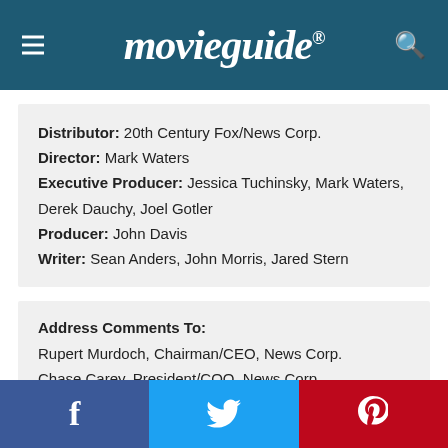movieguide®
Distributor: 20th Century Fox/News Corp.
Director: Mark Waters
Executive Producer: Jessica Tuchinsky, Mark Waters, Derek Dauchy, Joel Gotler
Producer: John Davis
Writer: Sean Anders, John Morris, Jared Stern
Address Comments To:
Rupert Murdoch, Chairman/CEO, News Corp.
Chase Carey, President/COO, News Corp.
Tom Rothman and Jim Gianopulos, Chairmen/CEO
f  (Twitter bird)  P